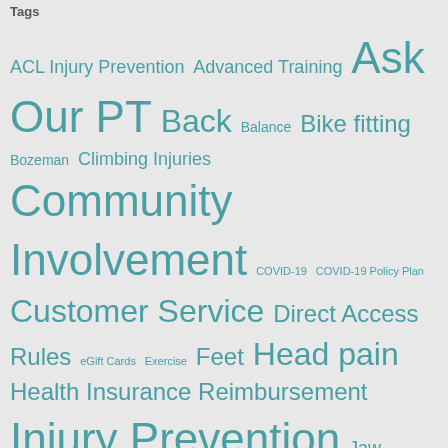Tags
[Figure (infographic): A tag cloud displaying various physical therapy and medical topics in different font sizes indicating frequency/importance. Tags include: ACL Injury Prevention, Advanced Training, Ask Our PT, Back, Balance, Bike fitting, Bozeman, Climbing Injuries, Community Involvement, COVID-19, COVID-19 Policy Plan, Customer Service, Direct Access Rules, eGift Cards, Exercise, Feet, Head pain, Health Insurance Reimbursement, Injury Prevention, Jaw dysfunction, Jaw pain, Knee pain, Massage Therapy, Montana health law, Mountain Biking, Neck Pain, Orthotics, Overuse injuries, Pain, Performance Arts Injuries, Physical Therapy Insurance Benefits, Posture, Pregnancy, running injuries, seminars, Shoulder, skiing, snowboarding, Spine, Sports Injuries, Swimming, Temporomandibular joint dysfunction, Testimonials, Tinnitus, TMJ]